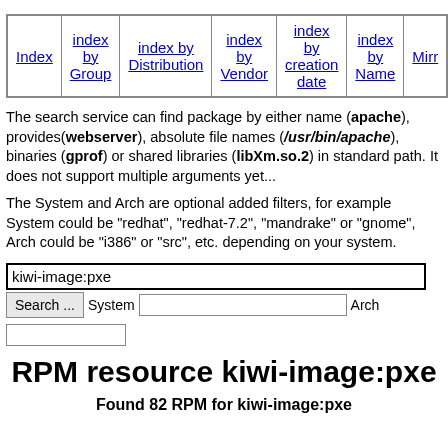| Index | index by Group | index by Distribution | index by Vendor | index by creation date | index by Name | Mirr... |
| --- | --- | --- | --- | --- | --- | --- |
| Index | index by Group | index by Distribution | index by Vendor | index by creation date | index by Name | Mirr... |
The search service can find package by either name (apache), provides(webserver), absolute file names (/usr/bin/apache), binaries (gprof) or shared libraries (libXm.so.2) in standard path. It does not support multiple arguments yet...
The System and Arch are optional added filters, for example System could be "redhat", "redhat-7.2", "mandrake" or "gnome", Arch could be "i386" or "src", etc. depending on your system.
kiwi-image:pxe [search input] Search ... System [field] Arch [field]
RPM resource kiwi-image:pxe
Found 82 RPM for kiwi-image:pxe